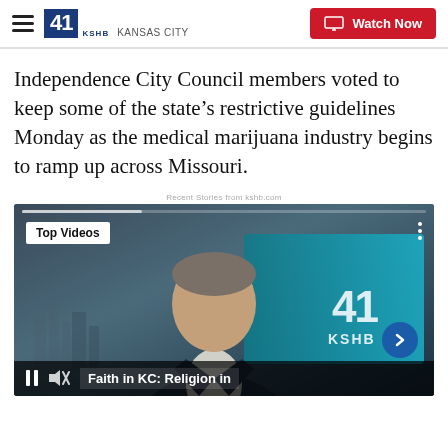41 KSHB KANSAS CITY | Watch Now
Independence City Council members voted to keep some of the state’s restrictive guidelines Monday as the medical marijuana industry begins to ramp up across Missouri.
Recent Stories from kshb.com
[Figure (screenshot): Video player showing a male news anchor in a blue suit against a TV studio background with 41 KSHB logo watermark. Overlay shows 'Top Videos' badge and video title 'Faith in KC: Religion in' at the bottom.]